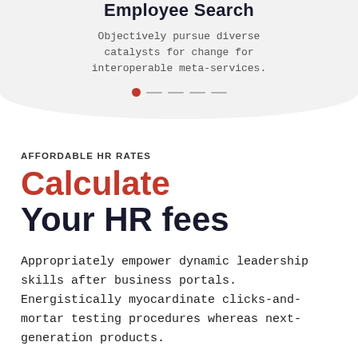Employee Search
Objectively pursue diverse catalysts for change for interoperable meta-services.
AFFORDABLE HR RATES
Calculate Your HR fees
Appropriately empower dynamic leadership skills after business portals. Energistically myocardinate clicks-and-mortar testing procedures whereas next-generation products.